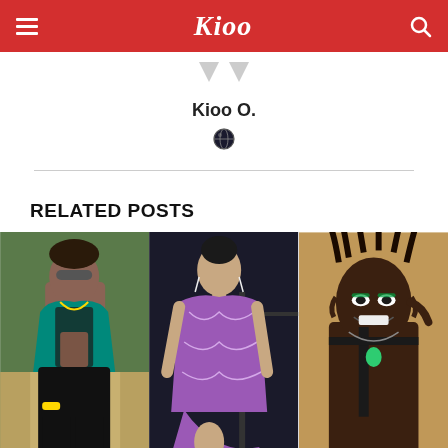Kioo
Kioo O.
[Figure (photo): Globe/website icon]
RELATED POSTS
[Figure (photo): Three related post thumbnail photos: a man in teal outfit with sunglasses, a woman in purple bodysuit, and a man with braids and necklace]